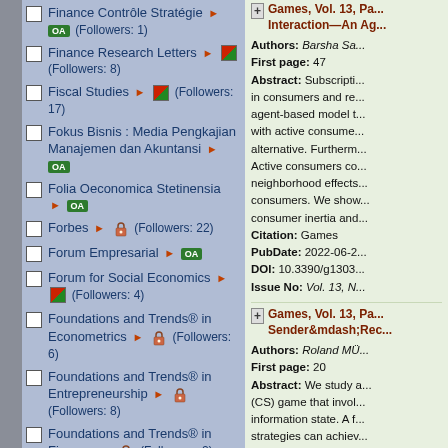Finance Contrôle Stratégie OA (Followers: 1)
Finance Research Letters (Followers: 8)
Fiscal Studies (Followers: 17)
Fokus Bisnis : Media Pengkajian Manajemen dan Akuntansi OA
Folia Oeconomica Stetinensia OA
Forbes (Followers: 22)
Forum Empresarial OA
Forum for Social Economics (Followers: 4)
Foundations and Trends® in Econometrics (Followers: 6)
Foundations and Trends® in Entrepreneurship (Followers: 8)
Foundations and Trends® in Finance (Followers: 2)
Games, Vol. 13, Pa... Interaction—An Ag... Authors: Barsha Sa... First page: 47 Abstract: Subscripti... in consumers and re... agent-based model t... with active consume... alternative. Furtherm... Active consumers co... neighborhood effects... consumers. We show... consumer inertia and... Citation: Games PubDate: 2022-06-2... DOI: 10.3390/g1303... Issue No: Vol. 13, N...
Games, Vol. 13, Pa... Sender&mdash;Rec... Authors: Roland MÜ... First page: 20 Abstract: We study a... (CS) game that invol... information state. A f... strategies can achiev... analysis of the CS ga... non-ambiguous perf... contrast these resu...